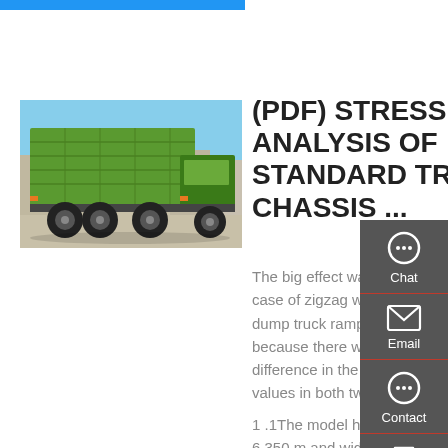[Figure (photo): Green dump truck photographed from the rear-left side, parked on a road with buildings in the background.]
(PDF) STRESS ANALYSIS OF STANDARD TRUCK CHASSIS ...
The big effect was given to the case of zigzag wheels of the dump truck ramp the block because there was great difference in the torsion stress values in both two case studies. 1 .1The model has length of 6.350 m and width of 2.85 m